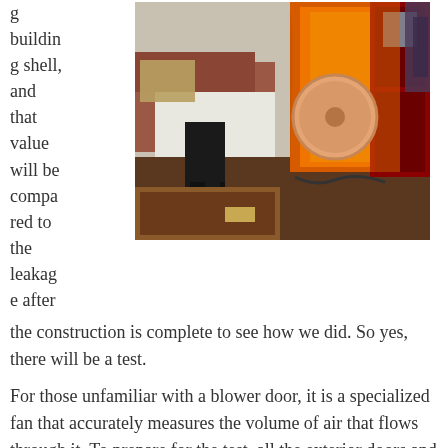g building shell, and that value will be compared to the leakage after the construction is complete to see how we did. So yes, there will be a test.
[Figure (photo): Interior room photo showing a blower door test setup: a red door fitted with an orange shroud and a large circular fan/blower device. A person is sitting on the left near a bed or couch. A wooden coffee table is visible in the foreground.]
For those unfamiliar with a blower door, it is a specialized fan that accurately measures the volume of air that flows through it. To prepare for the test, all the exterior doors and windows are closed, and the fan is put in a shroud that fits tightly in the door